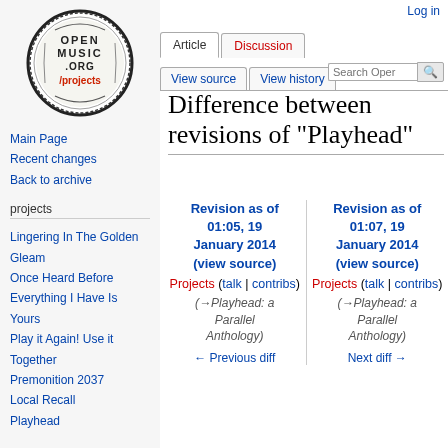[Figure (logo): Open Music Archive .org /projects circular logo with decorative border]
Main Page
Recent changes
Back to archive
projects
Lingering In The Golden Gleam
Once Heard Before
Everything I Have Is Yours
Play it Again! Use it Together
Premonition 2037
Local Recall
Playhead
Log in
Difference between revisions of "Playhead"
Revision as of 01:05, 19 January 2014 (view source) Projects (talk | contribs) (→Playhead: a Parallel Anthology)
Revision as of 01:07, 19 January 2014 (view source) Projects (talk | contribs) (→Playhead: a Parallel Anthology)
← Previous diff
Next diff →